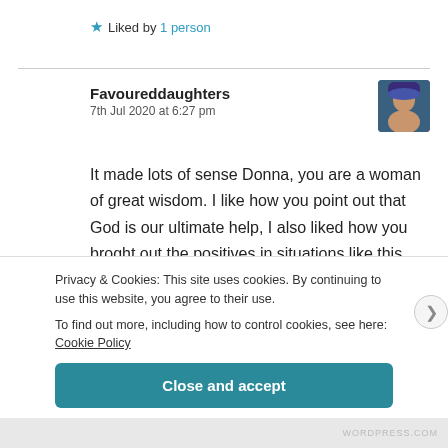★ Liked by 1 person
Favoureddaughters
7th Jul 2020 at 6:27 pm
It made lots of sense Donna, you are a woman of great wisdom. I like how you point out that God is our ultimate help, I also liked how you broght out the positives in situations like this (An opportunity
Privacy & Cookies: This site uses cookies. By continuing to use this website, you agree to their use.
To find out more, including how to control cookies, see here: Cookie Policy
Close and accept